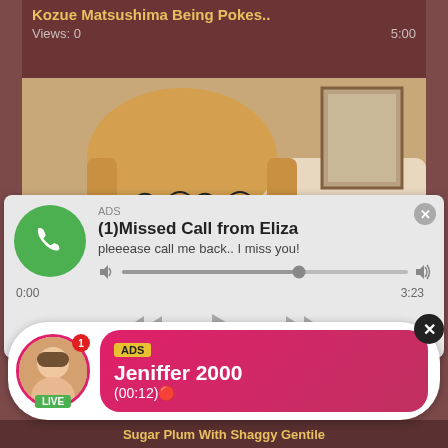Kozue Matsushima Being Pokes..
Views: 0   5:00
[Figure (photo): Close-up photo of a woman's face]
[Figure (screenshot): Audio ad popup: ADS - (1)Missed Call from Eliza - pleeease call me back.. I miss you! - audio player with progress bar, time 0:00 / 3:23, playback controls]
[Figure (screenshot): Live ad popup: ADS - Jeniffer 2000 - (00:12) with live avatar showing LIVE badge and notification badge 1]
Sugar Plum With Shaggy Gentile